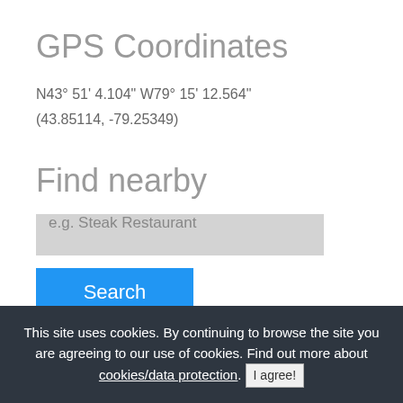GPS Coordinates
N43° 51' 4.104" W79° 15' 12.564"
(43.85114, -79.25349)
Find nearby
e.g. Steak Restaurant
Search
This site uses cookies. By continuing to browse the site you are agreeing to our use of cookies. Find out more about cookies/data protection. I agree!